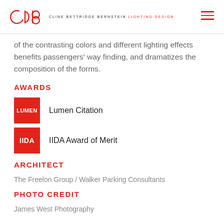cbb CLINE BETTRIDGE BERNSTEIN LIGHTING DESIGN
of the contrasting colors and different lighting effects benefits passengers' way finding, and dramatizes the composition of the forms.
AWARDS
Lumen Citation
IIDA Award of Merit
ARCHITECT
The Freelon Group / Walker Parking Consultants
PHOTO CREDIT
James West Photography